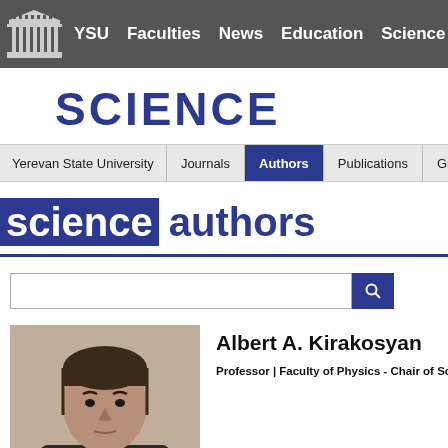YSU  Faculties  News  Education  Science  Stude...
SCIENCE
Yerevan State University | Journals | Authors | Publications | Grants | In...
science authors
Albert A. Kirakosyan
Professor | Faculty of Physics - Chair of Solid S...
[Figure (photo): Portrait photo of Albert A. Kirakosyan, a middle-aged man with dark hair wearing a dark shirt]
Biography